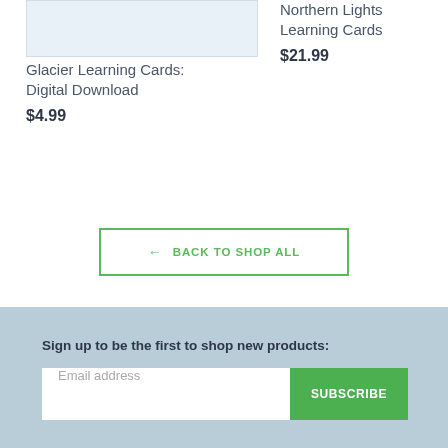[Figure (photo): Product image placeholder for Glacier Learning Cards: Digital Download — light blue rectangle]
Glacier Learning Cards: Digital Download
$4.99
Northern Lights Learning Cards
$21.99
← BACK TO SHOP ALL
Sign up to be the first to shop new products:
Email address
SUBSCRIBE